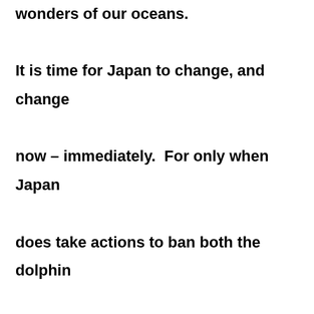wonders of our oceans.

It is time for Japan to change, and change now – immediately.  For only when Japan does take actions to ban both the dolphin murders and whale murders which it undertakes at present; only then will it be accepted back into the international community as a nation which has respect of others for attempts to preserve the